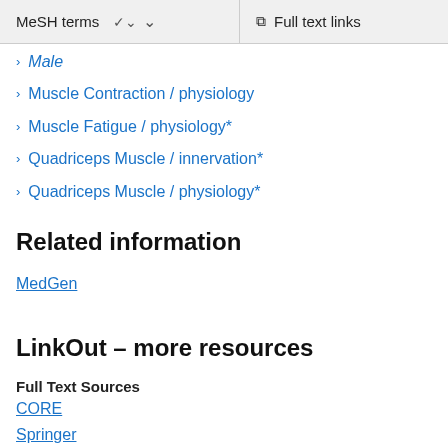MeSH terms  ∨   Full text links
Male
Muscle Contraction / physiology
Muscle Fatigue / physiology*
Quadriceps Muscle / innervation*
Quadriceps Muscle / physiology*
Related information
MedGen
LinkOut – more resources
Full Text Sources
CORE
Springer
Medical
MedlinePlus Consumer Health Information